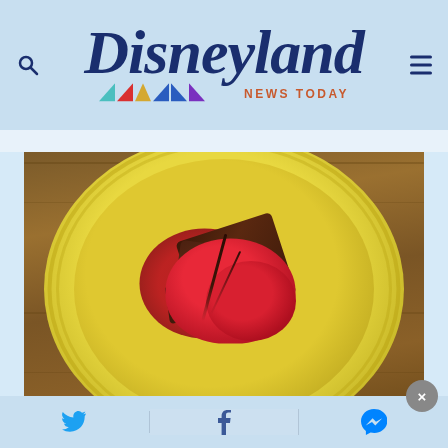Disneyland News Today
[Figure (photo): A chocolate brownie dessert with red ice cream and berry sauce on a yellow plate, photographed from above on a wooden table surface.]
Twitter share | Facebook share | Messenger share | Close